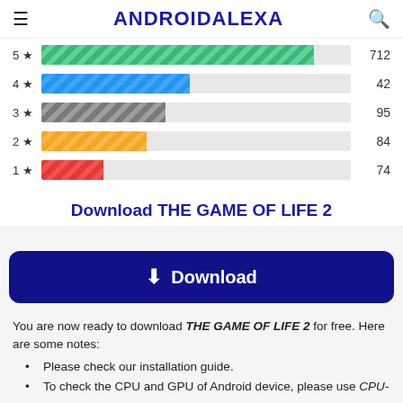ANDROIDALEXA
[Figure (bar-chart): Ratings bar chart]
Download THE GAME OF LIFE 2
Download
You are now ready to download THE GAME OF LIFE 2 for free. Here are some notes:
Please check our installation guide.
To check the CPU and GPU of Android device, please use CPU-